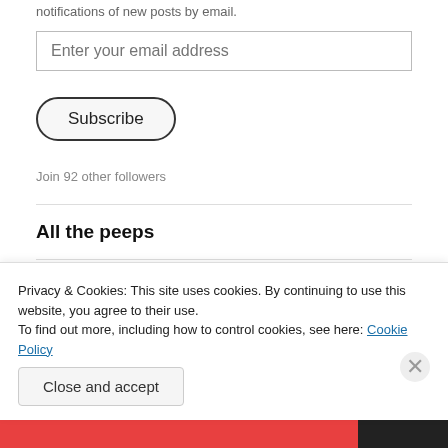notifications of new posts by email.
Enter your email address
Subscribe
Join 92 other followers
All the peeps
[Figure (screenshot): A horizontal strip of thumbnail images including a person in space suit, geometric patterns, blue sky, orange abstract, face close-up, landscape, and green geometric pattern.]
Privacy & Cookies: This site uses cookies. By continuing to use this website, you agree to their use.
To find out more, including how to control cookies, see here: Cookie Policy
Close and accept